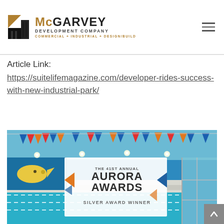McGARVEY DEVELOPMENT COMPANY COMMERCIAL + INDUSTRIAL + DESIGN/BUILD
Article Link:
https://suitelifemagazine.com/developer-rides-success-with-new-industrial-park/
[Figure (photo): Indoor swimming pool with colorful bunting decorations and blue walls. Overlaid with a banner reading 'THE 41ST ANNUAL AURORA AWARDS SILVER AWARD WINNER']